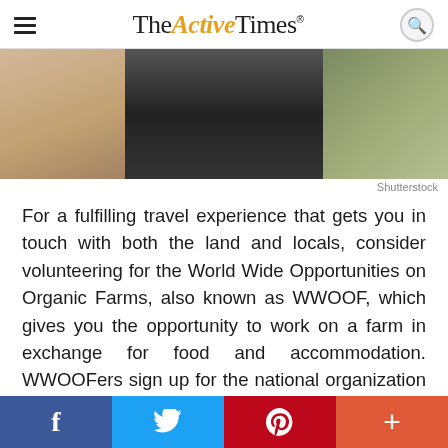The Active Times
[Figure (photo): Close-up photo of a person's arm and a dark-colored young goat or calf on a farm, with dry straw/hay in the background.]
Shutterstock
For a fulfilling travel experience that gets you in touch with both the land and locals, consider volunteering for the World Wide Opportunities on Organic Farms, also known as WWOOF, which gives you the opportunity to work on a farm in exchange for food and accommodation. WWOOFers sign up for the national organization in the country they wish to visit and pay an annual membership fee of around $30 per
f  Twitter  p  +